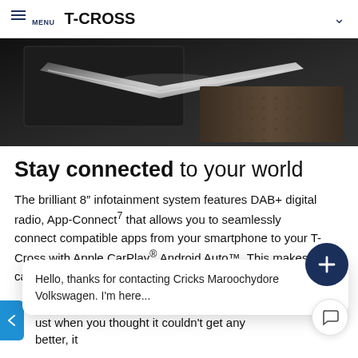MENU  T-CROSS
[Figure (photo): Close-up interior shot of a car dashboard/console showing metallic trim and textured upholstery in dark tones]
Stay connected to your world
The brilliant 8" infotainment system features DAB+ digital radio, App-Connect7 that allows you to seamlessly connect compatible apps from your smartphone to your T-Cross with Apple CarPlay® Android Auto™. This makes calling friends, pur [overlapped] sier
Hello, thanks for contacting Cricks Maroochydore Volkswagen. I'm here...
ust when you thought it couldn't get any better, it